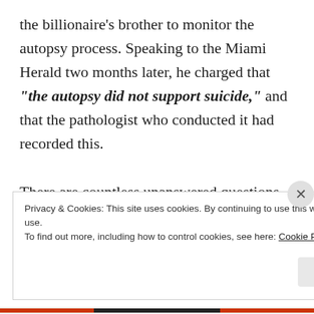the billionaire's brother to monitor the autopsy process. Speaking to the Miami Herald two months later, he charged that "the autopsy did not support suicide," and that the pathologist who conducted it had recorded this.

There are countless unanswered questions that plague the Maxwell/Epstein case, yet corporate media would have you believe that we need to establish a no-fly zone over Ukraine to start nuclear
Privacy & Cookies: This site uses cookies. By continuing to use this website, you agree to their use.
To find out more, including how to control cookies, see here: Cookie Policy

Close and accept